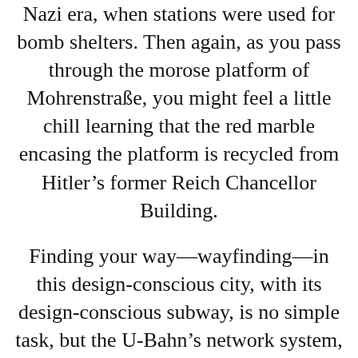Nazi era, when stations were used for bomb shelters. Then again, as you pass through the morose platform of Mohrenstraße, you might feel a little chill learning that the red marble encasing the platform is recycled from Hitler's former Reich Chancellor Building.
Finding your way—wayfinding—in this design-conscious city, with its design-conscious subway, is no simple task, but the U-Bahn's network system, organized by the renowned German typographer Erik Spiekermann and his agency MetaDesign since 1992, attempts to ease your way and get you to where you want to go. It's a riot of colors, and a brew of